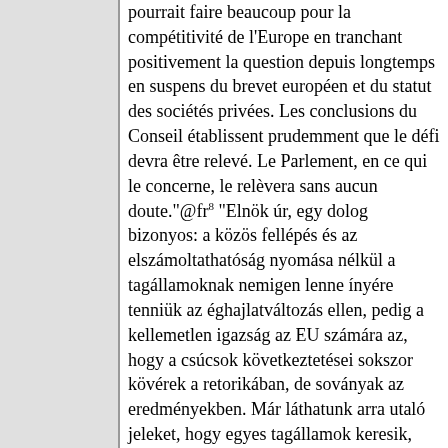pourrait faire beaucoup pour la compétitivité de l'Europe en tranchant positivement la question depuis longtemps en suspens du brevet européen et du statut des sociétés privées. Les conclusions du Conseil établissent prudemment que le défi devra être relevé. Le Parlement, en ce qui le concerne, le relèvera sans aucun doute."@fr⁸ "Elnök úr, egy dolog bizonyos: a közös fellépés és az elszámoltathatóság nyomása nélkül a tagállamoknak nemigen lenne ínyére tenniük az éghajlatváltozás ellen, pedig a kellemetlen igazság az EU számára az, hogy a csúcsok következtetései sokszor kövérek a retorikában, de soványak az eredményekben. Már láthatunk arra utaló jeleket, hogy egyes tagállamok keresik, miképpen bújhatnának ki a múlt évben vállalt politikai kötelezettségeik alól, jóllehet a 2006-os Stern-jelentés